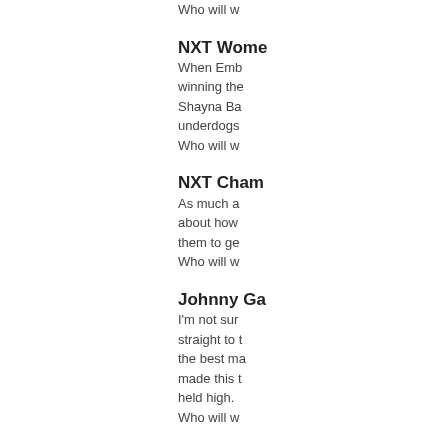Who will w
NXT Wome
When Emb winning the Shayna Ba underdogs Who will w
NXT Cham
As much a about how them to ge Who will w
Johnny Ga
I'm not sur straight to t the best ma made this t held high. Who will w